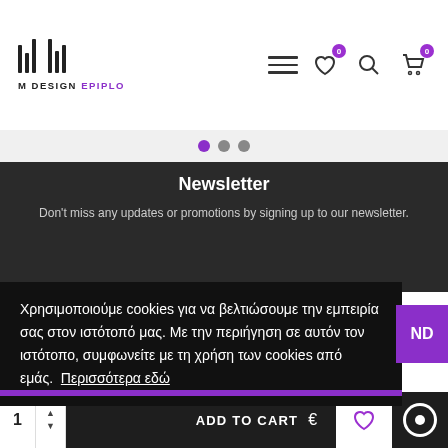[Figure (logo): M Design Epiplo logo with vertical bars and brand name]
[Figure (infographic): Navigation icons: hamburger menu, heart with badge 0, search, cart with badge 0]
[Figure (infographic): Carousel dots: purple, gray, gray]
Newsletter
Don't miss any updates or promotions by signing up to our newsletter.
Χρησιμοποιούμε cookies για να βελτιώσουμε την εμπειρία σας στον ιστότοπό μας. Με την περιήγηση σε αυτόν τον ιστότοπο, συμφωνείτε με τη χρήση των cookies από εμάς. Περισσότερα εδώ
1 ADD TO CART €